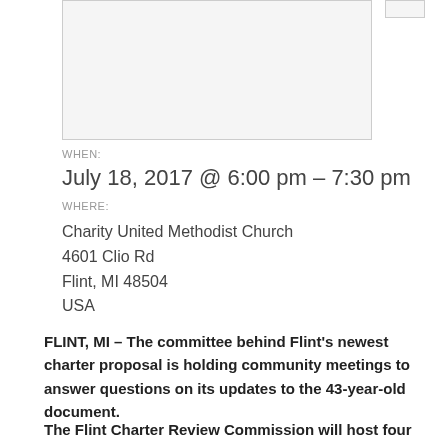[Figure (other): Image placeholder box (top left area)]
WHEN:
July 18, 2017 @ 6:00 pm – 7:30 pm
WHERE:
Charity United Methodist Church
4601 Clio Rd
Flint, MI 48504
USA
FLINT, MI – The committee behind Flint's newest charter proposal is holding community meetings to answer questions on its updates to the 43-year-old document.
The Flint Charter Review Commission will host four